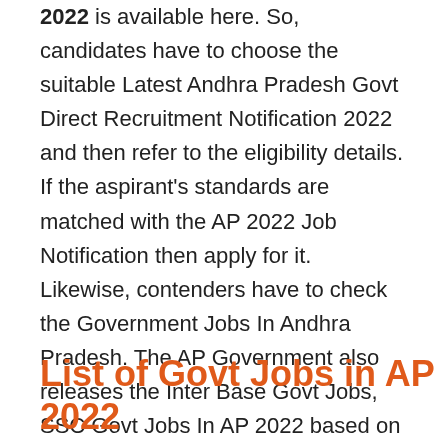2022 is available here. So, candidates have to choose the suitable Latest Andhra Pradesh Govt Direct Recruitment Notification 2022 and then refer to the eligibility details. If the aspirant's standards are matched with the AP 2022 Job Notification then apply for it. Likewise, contenders have to check the Government Jobs In Andhra Pradesh. The AP Government also releases the Inter Base Govt Jobs, SSC Govt Jobs In AP 2022 based on the requirement. So, the aspirants who have minimum qualifications are also eligible to enroll in this AP Latest Job Notification 2022. Therefore, every contender who is searching for the Latest Govt Jobs In AP With Intermediate Qualification should reach this page and know the overall details.
List of  Govt Jobs in AP 2022